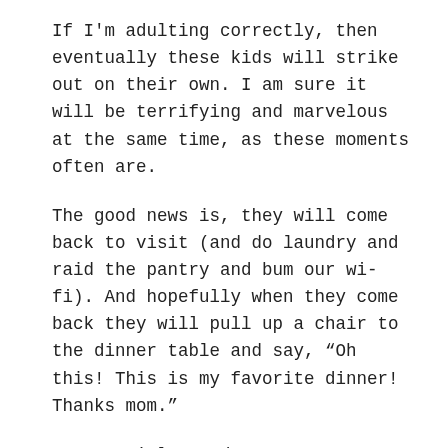If I'm adulting correctly, then eventually these kids will strike out on their own. I am sure it will be terrifying and marvelous at the same time, as these moments often are.
The good news is, they will come back to visit (and do laundry and raid the pantry and bum our wi-fi). And hopefully when they come back they will pull up a chair to the dinner table and say, “Oh this! This is my favorite dinner! Thanks mom.”
Hey, a girl can dream.